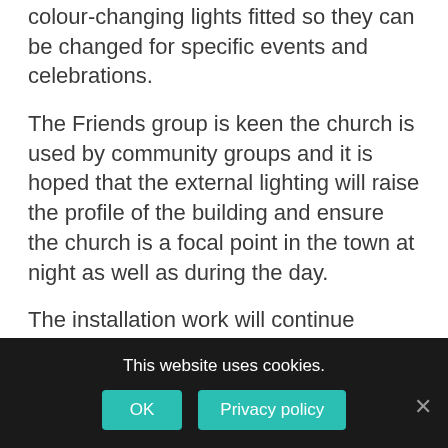colour-changing lights fitted so they can be changed for specific events and celebrations.
The Friends group is keen the church is used by community groups and it is hoped that the external lighting will raise the profile of the building and ensure the church is a focal point in the town at night as well as during the day.
The installation work will continue through October and the Friends is organising the ‘Big Light Up’ switch on ceremony at 6pm on October 30. Everyone is welcome to go along and see the church light up.
This website uses cookies.
OK
Privacy policy